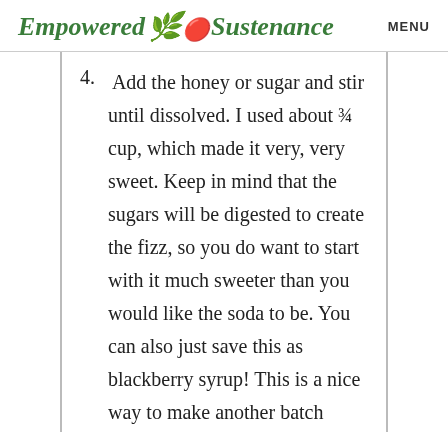Empowered Sustenance   MENU
4. Add the honey or sugar and stir until dissolved. I used about ¾ cup, which made it very, very sweet. Keep in mind that the sugars will be digested to create the fizz, so you do want to start with it much sweeter than you would like the soda to be. You can also just save this as blackberry syrup! This is a nice way to make another batch